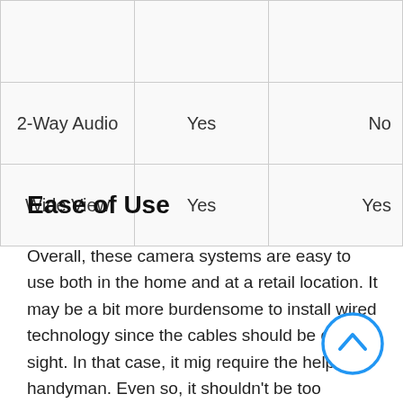| Feature | Product A | Product B |
| --- | --- | --- |
| 2-Way Audio | Yes | No |
| Wide View | Yes | Yes |
Ease of Use
Overall, these camera systems are easy to use both in the home and at a retail location. It may be a bit more burdensome to install wired technology since the cables should be out of sight. In that case, it might require the help of a handyman. Even so, it shouldn't be too disruptive, and the payoff is worth it. Once everything is installed, and the app is set up, users can